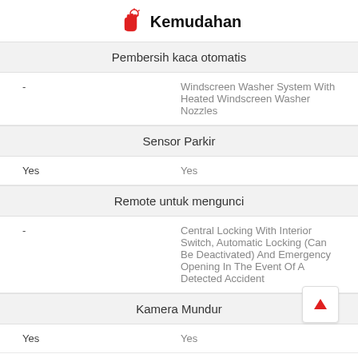Kemudahan
Pembersih kaca otomatis
- | Windscreen Washer System With Heated Windscreen Washer Nozzles
Sensor Parkir
Yes | Yes
Remote untuk mengunci
- | Central Locking With Interior Switch, Automatic Locking (Can Be Deactivated) And Emergency Opening In The Event Of A Detected Accident
Kamera Mundur
Yes | Yes
Hiburan